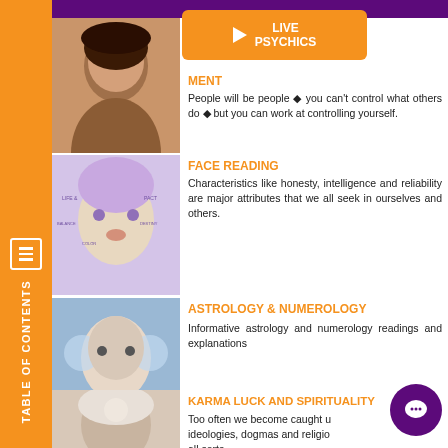WISDOM TREE
[Figure (illustration): Orange Live Psychics button with play icon]
[Figure (photo): Portrait of a young woman with curly hair]
SELF-IMPROVEMENT
People will be people ◆ you can't control what others do ◆ but you can work at controlling yourself.
[Figure (photo): Face reading diagram with labeled zones on a woman's face]
FACE READING
Characteristics like honesty, intelligence and reliability are major attributes that we all seek in ourselves and others.
[Figure (photo): Woman with headphones and cosmic imagery around head]
ASTROLOGY & NUMEROLOGY
Informative astrology and numerology readings and explanations
[Figure (photo): Woman in spiritual/meditative pose with glowing light]
KARMA LUCK AND SPIRITUALITY
Too often we become caught up in ideologies, dogmas and religions of all sorts.
TABLE OF CONTENTS